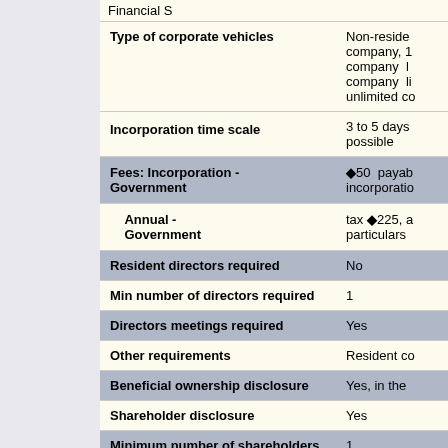Financial S...
| Field | Value |
| --- | --- |
| Type of corporate vehicles | Non-resident company, 1... company l... company li... unlimited co... |
| Incorporation time scale | 3 to 5 days ... possible |
| Fees: Incorporation - Government | ◆50 payable... incorporation... |
| Annual - Government | tax ◆225, a... particulars ... |
| Resident directors required | No |
| Min number of directors required | 1 |
| Directors meetings required | Yes |
| Other requirements | Resident co... |
| Beneficial ownership disclosure | Yes, in the ... |
| Shareholder disclosure | Yes |
| Minimum number of shareholders | 1 |
| Bearer shares allowed | Yes, conditi... |
| No-par value shares allowed | No |
| Public share register | Yes |